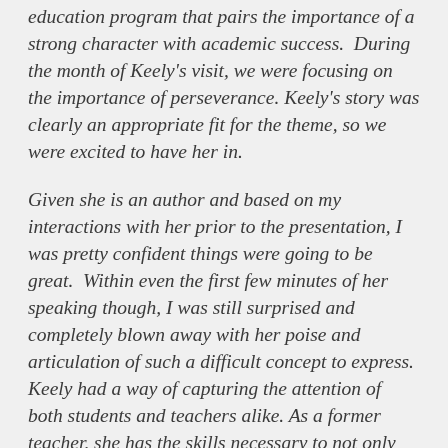education program that pairs the importance of a strong character with academic success.  During the month of Keely's visit, we were focusing on the importance of perseverance. Keely's story was clearly an appropriate fit for the theme, so we were excited to have her in.
Given she is an author and based on my interactions with her prior to the presentation, I was pretty confident things were going to be great.  Within even the first few minutes of her speaking though, I was still surprised and completely blown away with her poise and articulation of such a difficult concept to express.  Keely had a way of capturing the attention of both students and teachers alike. As a former teacher, she has the skills necessary to not only use her words, but also pacing, visuals, and a delivery technique that was successful in capturing the group and kept them engaged for the entire duration.  Her message was unique and refreshing given the topic could have easily turned cliche